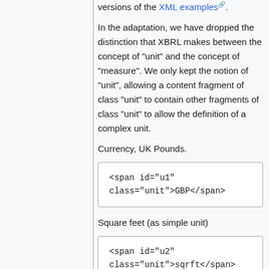versions of the XML examples.
In the adaptation, we have dropped the distinction that XBRL makes between the concept of "unit" and the concept of "measure". We only kept the notion of "unit", allowing a content fragment of class "unit" to contain other fragments of class "unit" to allow the definition of a complex unit.
Currency, UK Pounds.
[Figure (screenshot): Code box showing: <span id="u1" class="unit">GBP</span>]
Square feet (as simple unit)
[Figure (screenshot): Code box showing: <span id="u2" class="unit">sqrft</span>]